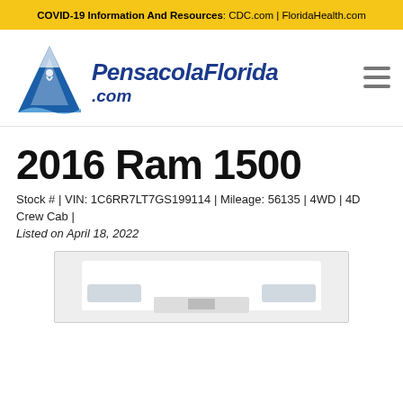COVID-19 Information And Resources: CDC.com | FloridaHealth.com
[Figure (logo): PensacolaFlorida.com logo with blue mountain/water triangle icon and stylized blue script text]
2016 Ram 1500
Stock # | VIN: 1C6RR7LT7GS199114 | Mileage: 56135 | 4WD | 4D Crew Cab |
Listed on April 18, 2022
[Figure (photo): Partial front view of a white 2016 Ram 1500 truck, showing the hood and front grille area]